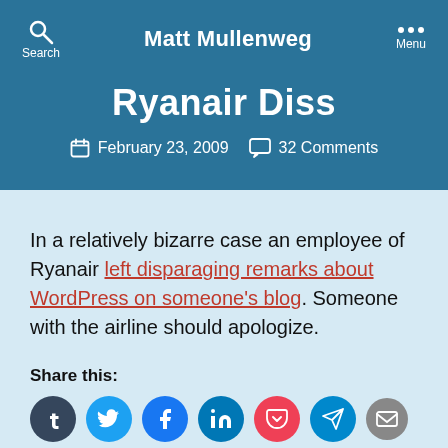Matt Mullenweg
Ryanair Diss
February 23, 2009  32 Comments
In a relatively bizarre case an employee of Ryanair left disparaging remarks about WordPress on someone's blog. Someone with the airline should apologize.
Share this: